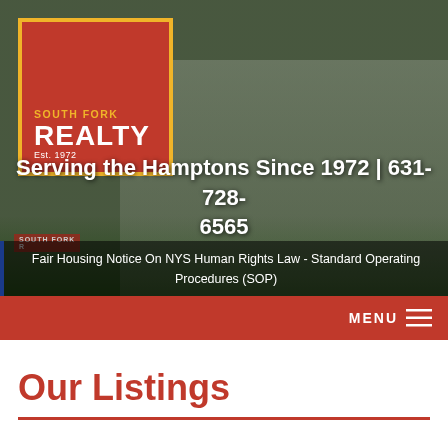[Figure (photo): South Fork Realty office building photo — a white Victorian-style house with dark roof, surrounded by greenery, with a South Fork Realty yard sign visible. The image has a dark overlay. A red logo box in the upper left contains the South Fork Realty Est. 1972 logo with a gold border.]
Serving the Hamptons Since 1972 | 631-728-6565
MENU ≡
Fair Housing Notice On NYS Human Rights Law - Standard Operating Procedures (SOP)
Our Listings